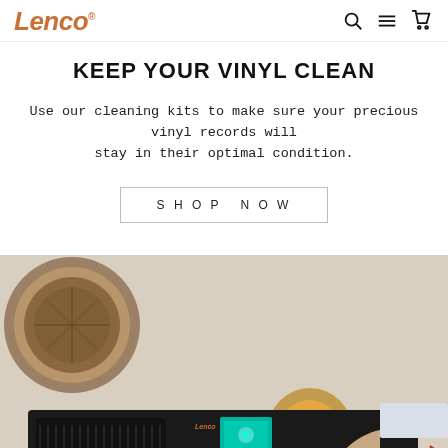Lenco [logo] with search, menu, and cart icons
KEEP YOUR VINYL CLEAN
Use our cleaning kits to make sure your precious vinyl records will stay in their optimal condition.
SHOP NOW
[Figure (photo): Person's hand operating a black Lenco turntable/audio system on a glass table, with a decorative basket and warm ambient lamp in background]